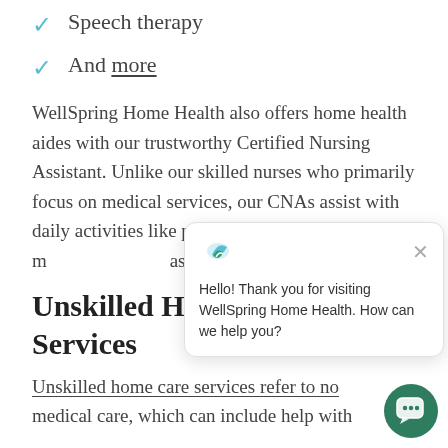Speech therapy
And more
WellSpring Home Health also offers home health aides with our trustworthy Certified Nursing Assistant. Unlike our skilled nurses who primarily focus on medical services, our CNAs assist with daily activities like personal care and hygiene, m[eal preparation,] assistance, and mu[ch more].
Unskilled Ho[me Health] Services
Unskilled home care services refer to no[n-] medical care, which can include help with
[Figure (screenshot): Chat popup widget showing WellSpring Home Health logo and message: Hello! Thank you for visiting WellSpring Home Health. How can we help you? with a close button and green chat bubble button.]